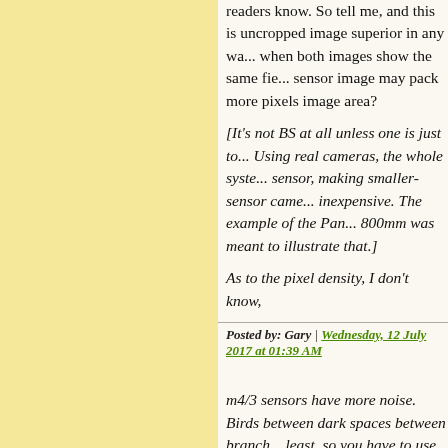readers know. So tell me, and this is uncropped image superior in any wa... when both images show the same fie... sensor image may pack more pixels image area?
[It's not BS at all unless one is just to... Using real cameras, the whole syste... sensor, making smaller-sensor came... inexpensive. The example of the Pan... 800mm was meant to illustrate that.]
As to the pixel density, I don't know,
Posted by: Gary | Wednesday, 12 July 2017 at 01:39 AM
m4/3 sensors have more noise. Birds between dark spaces between branch... least, so you have to use iso 1600 (o... That is not in favor of smaller sensor...
Posted by: Frank | Wednesday, 12 July 2017 at 02:33 AM